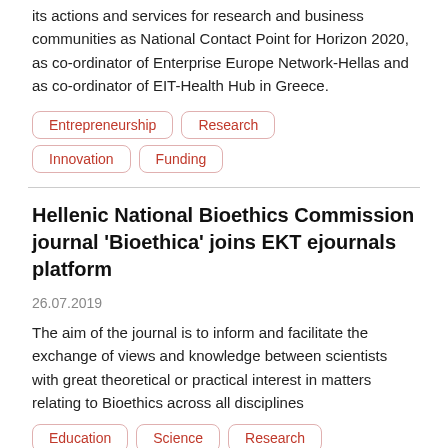its actions and services for research and business communities as National Contact Point for Horizon 2020, as co-ordinator of Enterprise Europe Network-Hellas and as co-ordinator of EIT-Health Hub in Greece.
Entrepreneurship
Research
Innovation
Funding
Hellenic National Bioethics Commission journal 'Bioethica' joins EKT ejournals platform
26.07.2019
The aim of the journal is to inform and facilitate the exchange of views and knowledge between scientists with great theoretical or practical interest in matters relating to Bioethics across all disciplines
Education
Science
Research